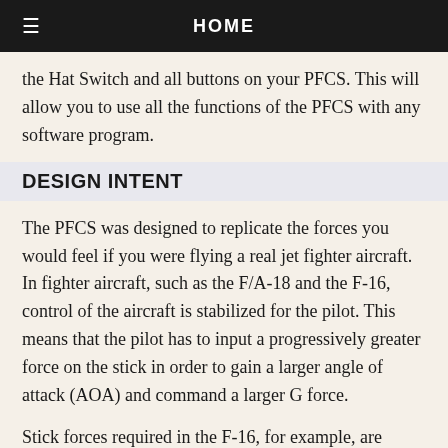HOME
the Hat Switch and all buttons on your PFCS. This will allow you to use all the functions of the PFCS with any software program.
DESIGN INTENT
The PFCS was designed to replicate the forces you would feel if you were flying a real jet fighter aircraft. In fighter aircraft, such as the F/A-18 and the F-16, control of the aircraft is stabilized for the pilot. This means that the pilot has to input a progressively greater force on the stick in order to gain a larger angle of attack (AOA) and command a larger G force.
Stick forces required in the F-16, for example, are